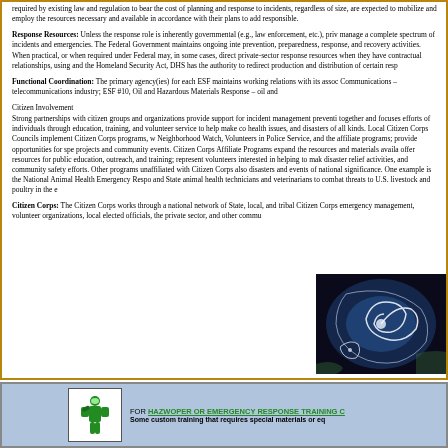required by existing law and regulation to bear the cost of planning and response to incidents, regardless of size, are expected to mobilize and employ the resources necessary and available in accordance with their plans to address and responsible.
Response Resources: Unless the response role is inherently governmental (e.g., law enforcement, etc.), private sectors manage a complete spectrum of incidents and emergencies. The Federal Government maintains ongoing interest in prevention, preparedness, response, and recovery activities. When practical, or when required under Federal law, DHS may, in some cases, direct private-sector response resources when they have contractual relationships, using and the Homeland Security Act, DHS has the authority to redirect production and distribution of certain respo...
Functional Coordination: The primary agency(ies) for each ESF maintains working relations with its associated Communications - telecommunications industry; ESF #10, Oil and Hazardous Materials Response - oil and...
Citizen Involvement
Strong partnerships with citizen groups and organizations provide support for incident management preventi... together and focuses efforts of individuals through education, training, and volunteer service to help make co... health issues, and disasters of all kinds. Local Citizen Corps Councils implement Citizen Corps programs, w... Neighborhood Watch, Volunteers in Police Service, and the affiliate programs; provide opportunities for spec... projects and community events. Citizen Corps Affiliate Programs expand the resources and materials availa... offer resources for public education, outreach, and training; represent volunteers interested in helping to mak... disaster relief activities, and community safety efforts. Other programs unaffiliated with Citizen Corps also ... disasters and events of national significance. One example is the National Animal Health Emergency Respo... and State animal health technicians and veterinarians to combat threats to U.S. livestock and poultry in the e...
Citizen Corps: The Citizen Corps works through a national network of State, local, and tribal Citizen Corps... emergency management, volunteer organizations, local elected officials, the private sector, and other commu...
[Figure (photo): Satellite or aerial photo showing hurricane/storm system from space, dark background with swirling cloud formations visible]
[Figure (illustration): Small icon/logo of a person in hazmat/emergency response suit with green color scheme]
FOR HAZWOPER OR EMERGENCY RESPONSE TRAINING C...
Some custom training that requires special materials or eq...